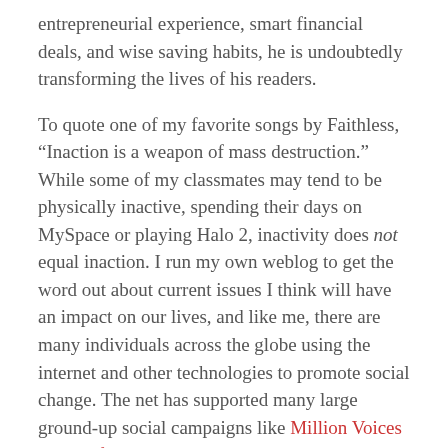entrepreneurial experience, smart financial deals, and wise saving habits, he is undoubtedly transforming the lives of his readers.
To quote one of my favorite songs by Faithless, “Inaction is a weapon of mass destruction.” While some of my classmates may tend to be physically inactive, spending their days on MySpace or playing Halo 2, inactivity does not equal inaction. I run my own weblog to get the word out about current issues I think will have an impact on our lives, and like me, there are many individuals across the globe using the internet and other technologies to promote social change. The net has supported many large ground-up social campaigns like Million Voices For Darfur, a campaign to send one million postcards to President Bush to ask Congress to support more aid to the genocide-stricken region in